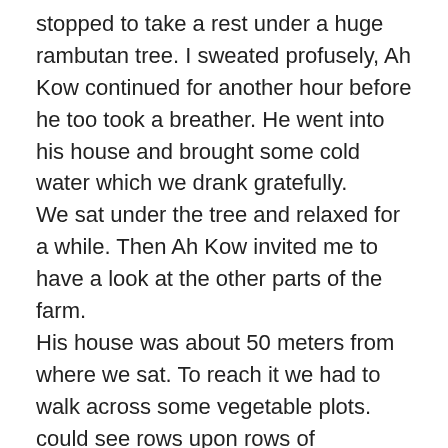stopped to take a rest under a huge rambutan tree. I sweated profusely, Ah Kow continued for another hour before he too took a breather. He went into his house and brought some cold water which we drank gratefully.
We sat under the tree and relaxed for a while. Then Ah Kow invited me to have a look at the other parts of the farm.
His house was about 50 meters from where we sat. To reach it we had to walk across some vegetable plots. could see rows upon rows of vegetables growing neatly. There were many varieties of vegetables. I could recognize some choy sum, kai lan, and string beans. Some were newly planted while some looked as though they were ready for